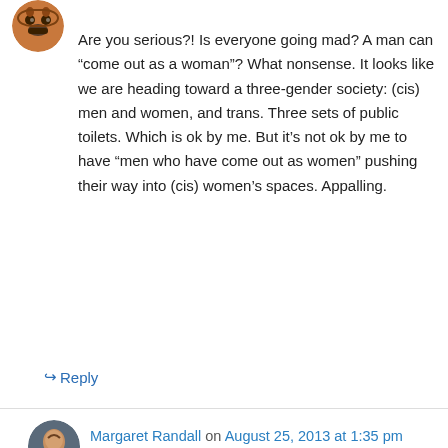[Figure (photo): Cookie monster style avatar icon, circular, brownish]
Are you serious?! Is everyone going mad? A man can “come out as a woman”? What nonsense. It looks like we are heading toward a three-gender society: (cis) men and women, and trans. Three sets of public toilets. Which is ok by me. But it’s not ok by me to have “men who have come out as women” pushing their way into (cis) women’s spaces. Appalling.
↳ Reply
[Figure (photo): Profile photo of Margaret Randall, elderly person in blue jacket]
Margaret Randall on August 25, 2013 at 1:35 pm
I am surprised that you refer to Chelsea Manning as a “queer woman.” As far as I can tell she is simply a woman, sadly born in a man’s body. I